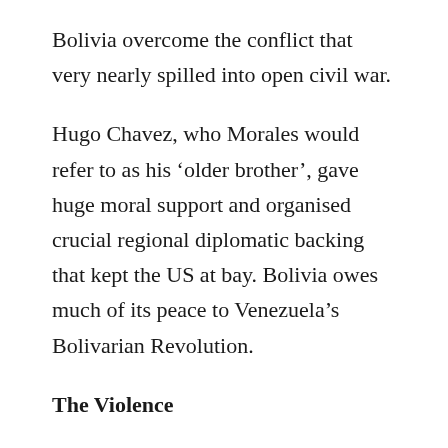Bolivia overcome the conflict that very nearly spilled into open civil war.
Hugo Chavez, who Morales would refer to as his ‘older brother’, gave huge moral support and organised crucial regional diplomatic backing that kept the US at bay. Bolivia owes much of its peace to Venezuela’s Bolivarian Revolution.
The Violence
The ‘media luna’ coup was the most serious challenge to Evo Morales’ progressive government, it unleashed huge violence across the country starting in 2008. Wikileaks cables would later show how the US Embassy played a key role in coordinating the